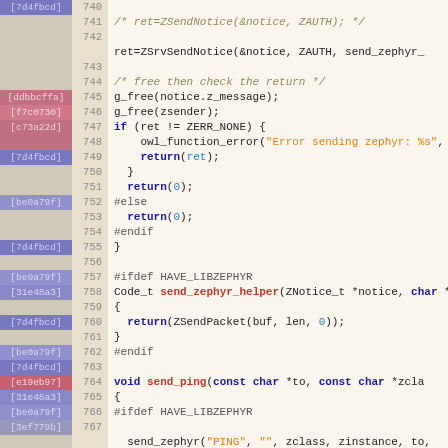[Figure (screenshot): Source code viewer showing C code lines 740-768 with commit hash annotations, line numbers, and syntax highlighting]